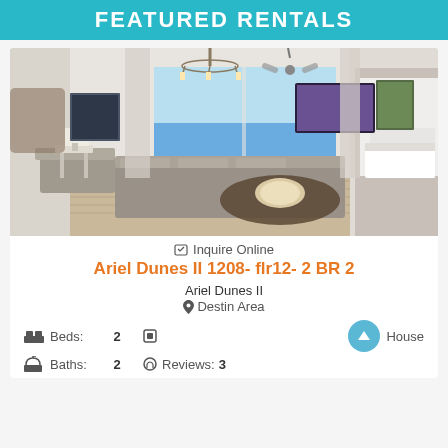FEATURED RENTALS
[Figure (photo): Interior photo of a beachfront condo living room with gray sectional sofa, chandelier, ceiling fan, large windows with ocean view, wall-mounted TV, and view into a bedroom]
Inquire Online
Ariel Dunes II 1208- flr12- 2 BR 2
Ariel Dunes II
Destin Area
Beds: 2  House
Baths: 2  Reviews: 3